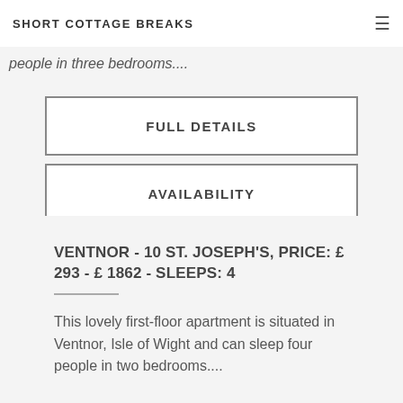SHORT COTTAGE BREAKS
people in three bedrooms....
FULL DETAILS
AVAILABILITY
VENTNOR - 10 ST. JOSEPH'S, PRICE: £ 293 - £ 1862 - SLEEPS: 4
This lovely first-floor apartment is situated in Ventnor, Isle of Wight and can sleep four people in two bedrooms....